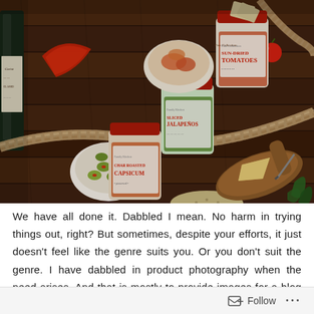[Figure (photo): Overhead flatlay food photography on dark wood surface showing glass jars of preserved foods (sun-dried tomatoes, sliced jalapeños, capsicum in oil), a bottle of wine partially visible on left, a bowl of green olives, red capsicums/peppers, crackers stacked, a wooden cheese board with knife and cheese, basil leaves, cherry tomatoes, and a rope accent.]
We have all done it. Dabbled I mean. No harm in trying things out, right? But sometimes, despite your efforts, it just doesn't feel like the genre suits you. Or you don't suit the genre. I have dabbled in product photography when the need arises. And that is mostly to provide images for a blog article I am writing where I try to gain a nice clear
Follow ...